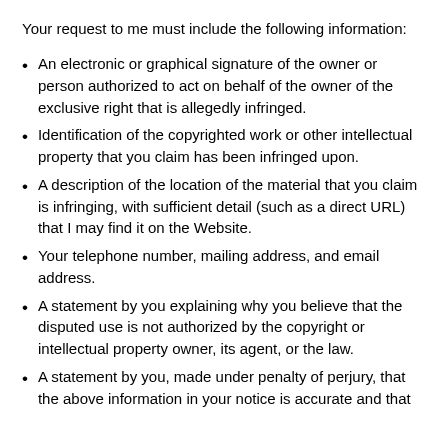Your request to me must include the following information:
An electronic or graphical signature of the owner or person authorized to act on behalf of the owner of the exclusive right that is allegedly infringed.
Identification of the copyrighted work or other intellectual property that you claim has been infringed upon.
A description of the location of the material that you claim is infringing, with sufficient detail (such as a direct URL) that I may find it on the Website.
Your telephone number, mailing address, and email address.
A statement by you explaining why you believe that the disputed use is not authorized by the copyright or intellectual property owner, its agent, or the law.
A statement by you, made under penalty of perjury, that the above information in your notice is accurate and that